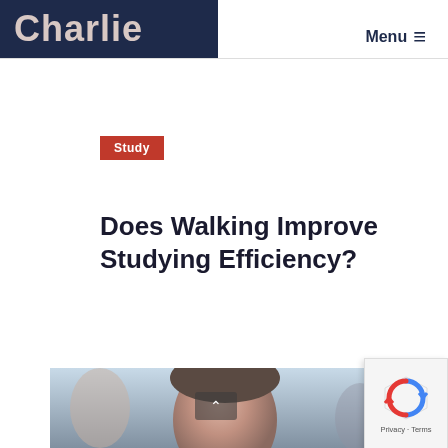Charlie
Menu ≡
Study
Does Walking Improve Studying Efficiency?
2 min read
Walking is beneficial for a number of reasons. Going for a walk can improve mental health, your wellbeing and assist with maintaining a healthy lifestyle. When you are studying for long hours, it seems easy to just grab a bite to eat for a quick...
[Figure (photo): A person studying, close-up face photo in a classroom setting]